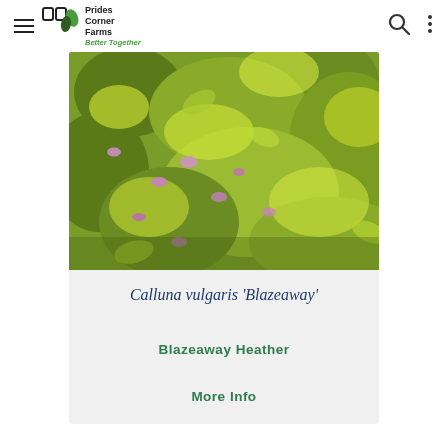Prides Corner Farms - Better Together
[Figure (photo): Close-up photo of Calluna vulgaris 'Blazeaway' (Blazeaway Heather) showing yellow-green foliage with pink flowers]
Calluna vulgaris 'Blazeaway'
Blazeaway Heather
More Info